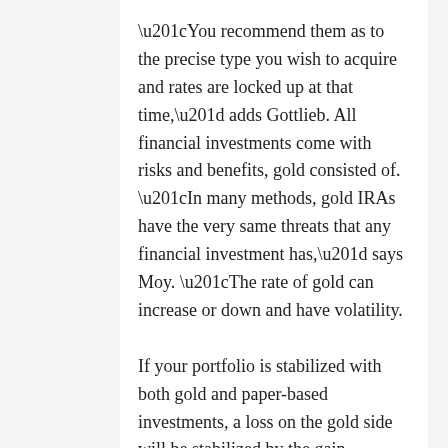“You recommend them as to the precise type you wish to acquire and rates are locked up at that time,” adds Gottlieb. All financial investments come with risks and benefits, gold consisted of. “In many methods, gold IRAs have the very same threats that any financial investment has,” says Moy. “The rate of gold can increase or down and have volatility.
If your portfolio is stabilized with both gold and paper-based investments, a loss on the gold side will be stabilized by the gain experienced by other assets.